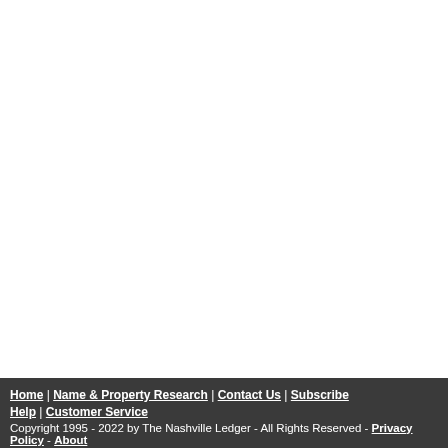“When I’m done, and I hang up the cleats for good, I want to leave knowing that in my relationship with this team I left it better than I found it. And I’m really proud of that.
As for playing his 100th career game, Lewan said it was slightly delayed by penalties. He missed all but five games last season and this season with nagging injuries.
“One hundred games. That’s cool,” he says. “But there’s more, you know what I’m saying. So we’ve got to keep going.”
He said he looks at linemates Ben Jones and Rodger Saffold, both in the league longer than him, and says he still has a lot more to give.
“One hundred games is pretty cool. You’ve got guys like Ben (Jones), (Saffold) who have played about 130 or 150 games. There’s more left in me, a lot more,” Lewan adds.
Terry McCormick publishes TitanInsider.com and co-hosts the George Plaster Show on WNSR-AM 560/95.9 FM.
Home | Name & Property Research | Contact Us | Subscribe | Help | Customer Service
Copyright 1995 - 2022 by The Nashville Ledger - All Rights Reserved - Privacy Policy - About